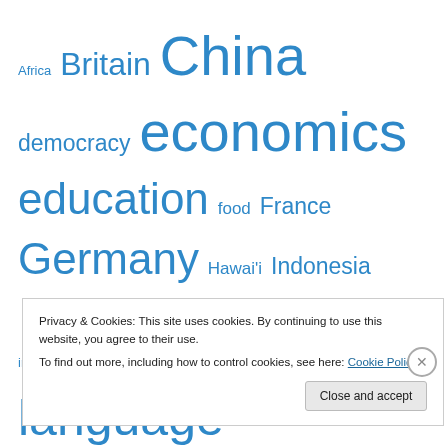[Figure (infographic): Tag cloud with topic words in varying sizes in blue: Africa, Britain, China, democracy, economics, education, food, France, Germany, Hawai'i, Indonesia, industry, Japan, Korea, labor, language, migration, military, nationalism, Pacific, Papua New Guinea, publishing, religion, Russia, Spain, travel, Turkey, U.S., USSR, war]
Privacy & Cookies: This site uses cookies. By continuing to use this website, you agree to their use.
To find out more, including how to control cookies, see here: Cookie Policy
Close and accept